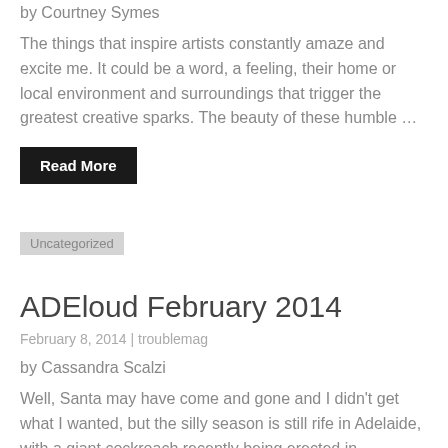by Courtney Symes
The things that inspire artists constantly amaze and excite me. It could be a word, a feeling, their home or local environment and surroundings that trigger the greatest creative sparks. The beauty of these humble …
Read More
Uncategorized
ADEloud February 2014
February 8, 2014 | troublemag
by Cassandra Scalzi
Well, Santa may have come and gone and I didn't get what I wanted, but the silly season is still rife in Adelaide, with a giant cockroach recently being erected in